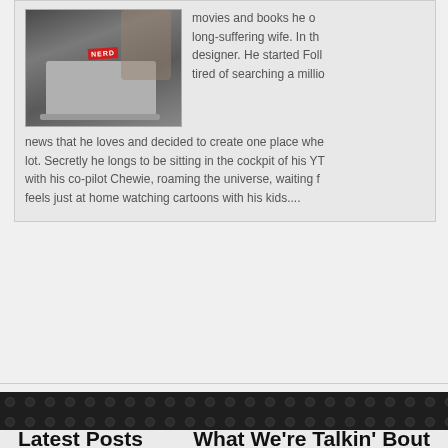[Figure (photo): Person with laptop with a NERD sticker, sitting]
movies and books he on long-suffering wife. In the designer. He started Foll tired of searching a milli news that he loves and decided to create one place whe lot. Secretly he longs to be sitting in the cockpit of his YT with his co-pilot Chewie, roaming the universe, waiting f feels just at home watching cartoons with his kids....
Latest Posts
What We're Talkin' Bout